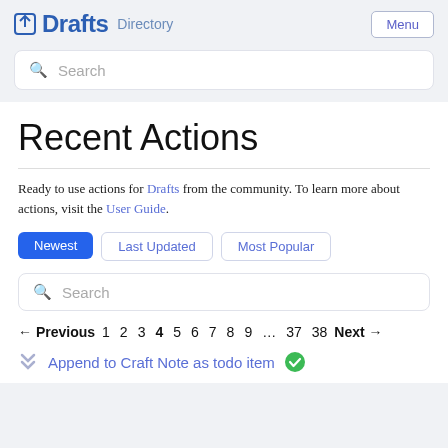Drafts Directory — Menu
Search
Recent Actions
Ready to use actions for Drafts from the community. To learn more about actions, visit the User Guide.
Newest
Last Updated
Most Popular
Search
← Previous 1 2 3 4 5 6 7 8 9 … 37 38 Next →
Append to Craft Note as todo item ✅